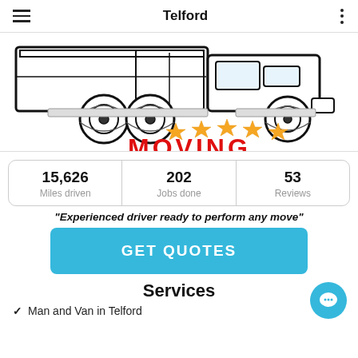Telford
[Figure (illustration): Black and white illustration of a large moving truck/lorry with five gold stars and partial red text at the bottom]
| 15,626 Miles driven | 202 Jobs done | 53 Reviews |
| --- | --- | --- |
"Experienced driver ready to perform any move"
[Figure (other): GET QUOTES button (sky blue rounded rectangle)]
Services
Man and Van in Telford